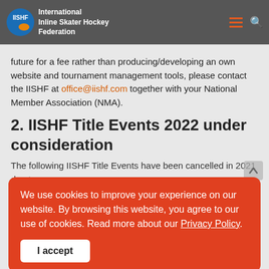International Inline Skater Hockey Federation
future for a fee rather than producing/developing an own website and tournament management tools, please contact the IISHF at office@iishf.com together with your National Member Association (NMA).
2. IISHF Title Events 2022 under consideration
The following IISHF Title Events have been cancelled in 2021 due to corona:
We use cookies to improve your experience on our website. By browsing this website, you agree to our use of cookies. Read more about our Privacy Policy.
I accept
NMA)
MO European Championship (another text)